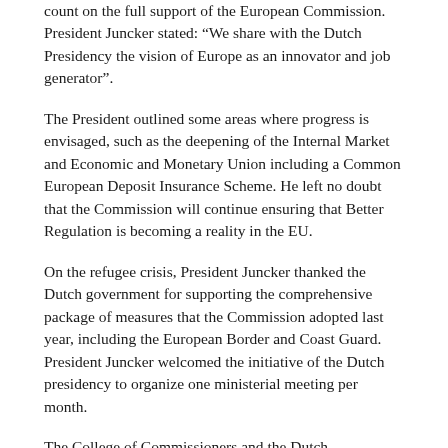count on the full support of the European Commission. President Juncker stated: “We share with the Dutch Presidency the vision of Europe as an innovator and job generator”.
The President outlined some areas where progress is envisaged, such as the deepening of the Internal Market and Economic and Monetary Union including a Common European Deposit Insurance Scheme. He left no doubt that the Commission will continue ensuring that Better Regulation is becoming a reality in the EU.
On the refugee crisis, President Juncker thanked the Dutch government for supporting the comprehensive package of measures that the Commission adopted last year, including the European Border and Coast Guard. President Juncker welcomed the initiative of the Dutch presidency to organize one ministerial meeting per month.
The College of Commissioners and the Dutch government got down to work immediately and held parallel thematic working sessions on the Presidency’s five priorities: Jobs, growth and competitiveness; the Economic and Monetary Union, financial services, social affairs and regional policy; the Energy Union, climate and transport; the EU as a strong global player; and freedom, justice, security and counter-terrorism.